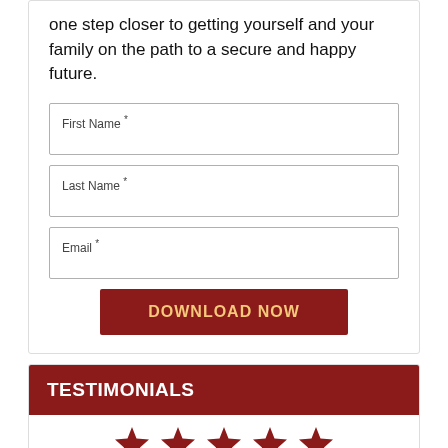one step closer to getting yourself and your family on the path to a secure and happy future.
First Name *
Last Name *
Email *
DOWNLOAD NOW
TESTIMONIALS
[Figure (other): Five red star rating icons partially visible at the bottom]